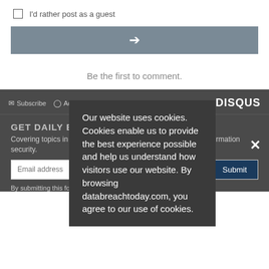I'd rather post as a guest
[Figure (other): Arrow submit button (gray background with white right-pointing arrow)]
Be the first to comment.
Subscribe  Add Disqus  Do Not Sell My Data  DISQUS
GET DAILY EMAIL UPDATES
Covering topics in risk management, compliance, fraud, and information security.
Email address
Submit
By submitting this form you agree to our Privacy & GDPR
Our website uses cookies. Cookies enable us to provide the best experience possible and help us understand how visitors use our website. By browsing databreachtoday.com, you agree to our use of cookies.